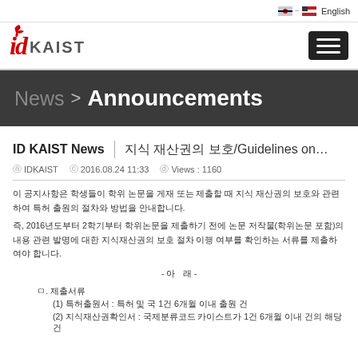[Figure (logo): ID KAIST logo with red bird icon and hamburger menu icon]
News > Announcements
ID KAIST News | 지식 재산권의 보호/Guidelines on...
ⓐ IDKAIST  ⓒ 2016.08.24 11:33  ⓓ Views : 1160
이 공지사항은 학생들이 학위 논문을 게재 또는 제출할 때 지식 재산권의 보호와 관련하여 특허 출원의 절차와 방법을 안내합니다.
즉, 2016년도부터 2학기부터 학위논문을 제출하기 전에 논문 저작물(학위논문 포함)의 내용 관련 발명에 대한 지식재산권의 보호 절차 이행 여부를 확인하는 서류를 제출하여야 합니다.
- 아    래 -
ㅁ. 제출서류
(1) 특허출원서 : 특허 및 국 1건 6개월 이내 출원 건
(2) 지식재산권확인서 : 국제분류코드 카이스트가 1건 6개월 이내 건의 해당 건